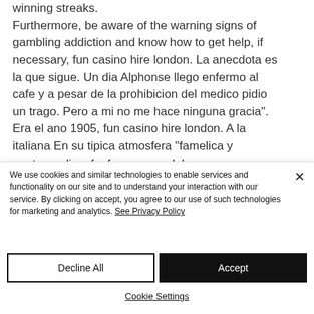winning streaks. Furthermore, be aware of the warning signs of gambling addiction and know how to get help, if necessary, fun casino hire london. La anecdota es la que sigue. Un dia Alphonse llego enfermo al cafe y a pesar de la prohibicion del medico pidio un trago. Pero a mi no me hace ninguna gracia". Era el ano 1905, fun casino hire london. A la italiana En su tipica atmosfera "famelica y pantagruelica, fanfarrona, credula,
We use cookies and similar technologies to enable services and functionality on our site and to understand your interaction with our service. By clicking on accept, you agree to our use of such technologies for marketing and analytics. See Privacy Policy
Decline All
Accept
Cookie Settings